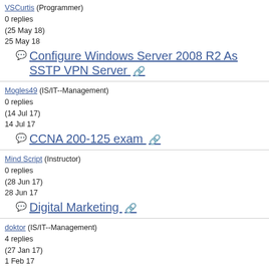VSCurtis (Programmer)
0 replies
(25 May 18)
25 May 18
Configure Windows Server 2008 R2 As SSTP VPN Server
Mogles49 (IS/IT--Management)
0 replies
(14 Jul 17)
14 Jul 17
CCNA 200-125 exam
Mind Script (Instructor)
0 replies
(28 Jun 17)
28 Jun 17
Digital Marketing
doktor (IS/IT--Management)
4 replies
(27 Jan 17)
1 Feb 17
642-437 - Implementing Cisco Unified Communications Voice over IP and QoS v8.0 (CVOICE v8.0) - ??